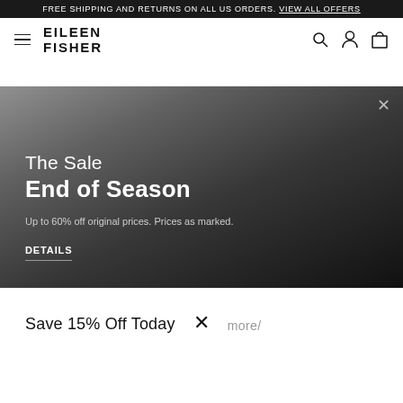FREE SHIPPING AND RETURNS ON ALL US ORDERS. VIEW ALL OFFERS
[Figure (logo): Eileen Fisher brand logo with hamburger menu icon and navigation icons (search, account, bag)]
[Figure (infographic): Hero banner with gradient dark background, close X button, sale promotion text: 'The Sale End of Season — Up to 60% off original prices. Prices as marked. DETAILS']
Save 15% Off Today